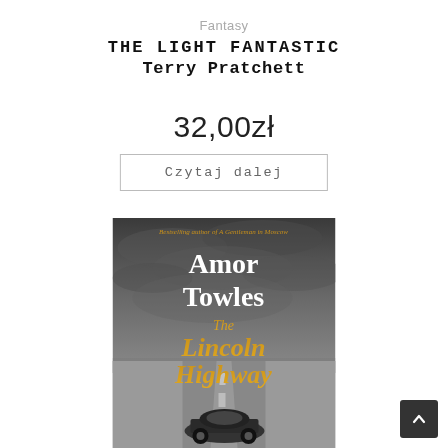Fantasy
THE LIGHT FANTASTIC
Terry Pratchett
32,00zł
Czytaj dalej
[Figure (illustration): Book cover of 'The Lincoln Highway' by Amor Towles — black and white photo of a car on a highway with dramatic sky, author name in large white serif text at top, title in gold/amber serif text in the middle, small gold subtitle text reads 'Bestselling author of A Gentleman in Moscow']